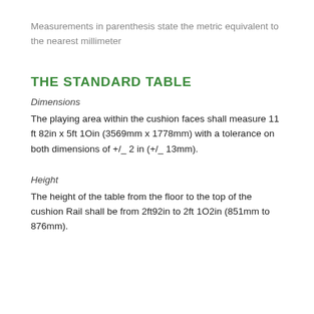Measurements in parenthesis state the metric equivalent to the nearest millimeter
THE STANDARD TABLE
Dimensions
The playing area within the cushion faces shall measure 11 ft 82in x 5ft 1Oin (3569mm x 1778mm) with a tolerance on both dimensions of +/_ 2 in (+/_ 13mm).
Height
The height of the table from the floor to the top of the cushion Rail shall be from 2ft92in to 2ft 1O2in (851mm to 876mm).